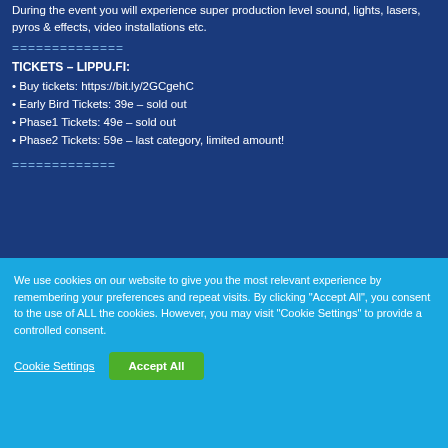During the event you will experience super production level sound, lights, lasers, pyros & effects, video installations etc.
=============
TICKETS – LIPPU.FI:
• Buy tickets: https://bit.ly/2GCgehC
• Early Bird Tickets: 39e – sold out
• Phase1 Tickets: 49e – sold out
• Phase2 Tickets: 59e – last category, limited amount!
=============
We use cookies on our website to give you the most relevant experience by remembering your preferences and repeat visits. By clicking "Accept All", you consent to the use of ALL the cookies. However, you may visit "Cookie Settings" to provide a controlled consent.
Cookie Settings
Accept All